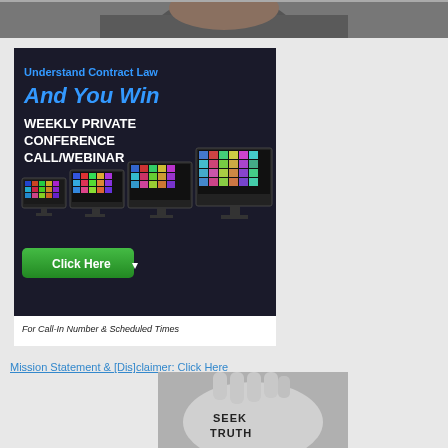[Figure (photo): Top strip showing partial view of a person in a gray shirt]
[Figure (infographic): Advertisement banner: 'Understand Contract Law And You Win - Weekly Private Conference Call/Webinar' with monitor images and a green Click Here button, and text 'For Call-In Number & Scheduled Times']
Mission Statement & [Dis]claimer: Click Here
[Figure (photo): Black and white photo of a hand with 'SEEK TRUTH' written on it]